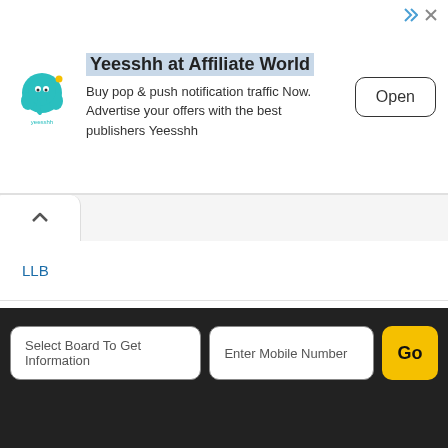[Figure (infographic): Advertisement banner for Yeesshh at Affiliate World. Logo of Yeesshh (teal elephant icon) on left. Text: 'Yeesshh at Affiliate World' as title, 'Buy pop & push notification traffic Now. Advertise your offers with the best publishers Yeesshh' as body. Open button on right.]
LLB
M.Pharm
M.Tech
Madras University
MAT
MCA
MHCET
Select Board To Get Information
Enter Mobile Number
Go